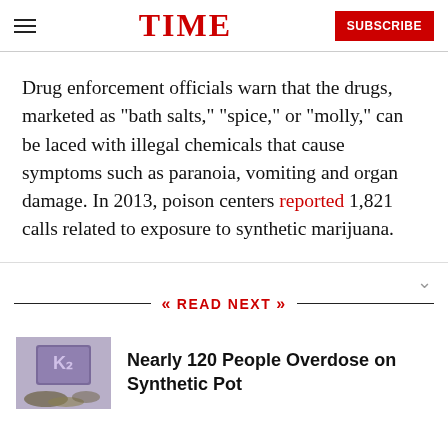TIME
Drug enforcement officials warn that the drugs, marketed as “bath salts,” “spice,” or “molly,” can be laced with illegal chemicals that cause symptoms such as paranoia, vomiting and organ damage. In 2013, poison centers reported 1,821 calls related to exposure to synthetic marijuana.
READ NEXT
[Figure (photo): Photo of K2 synthetic marijuana packet with plant material spilled out]
Nearly 120 People Overdose on Synthetic Pot